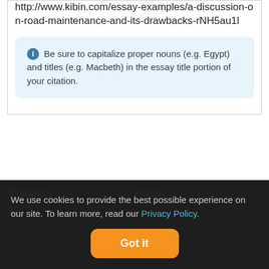http://www.kibin.com/essay-examples/a-discussion-on-road-maintenance-and-its-drawbacks-rNH5au1l
Be sure to capitalize proper nouns (e.g. Egypt) and titles (e.g. Macbeth) in the essay title portion of your citation.
Company | Follow
We use cookies to provide the best possible experience on our site. To learn more, read our Privacy Policy.
Got it